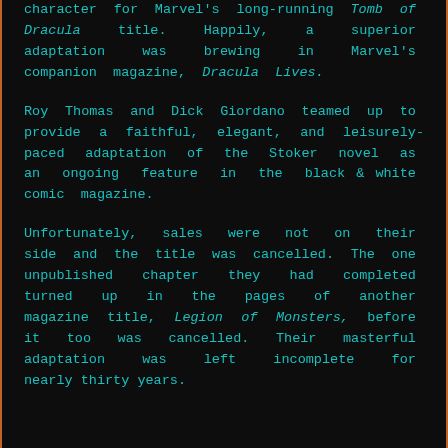character for Marvel's long-running Tomb of Dracula title. Happily, a superior adaptation was brewing in Marvel's companion magazine, Dracula Lives.

Roy Thomas and Dick Giordano teamed up to provide a faithful, elegant, and leisurely-paced adaptation of the Stoker novel as an ongoing feature in the black & white comic magazine.

Unfortunately, sales were not on their side and the title was cancelled. The one unpublished chapter they had completed turned up in the pages of another magazine title, Legion of Monsters, before it too was cancelled. Their masterful adaptation was left incomplete for nearly thirty years.